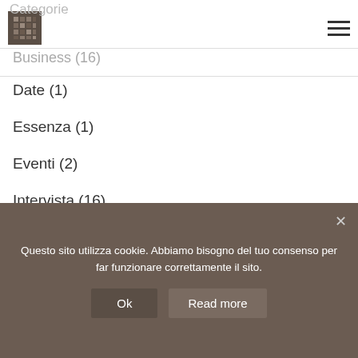Categorie
Business (16)
Date (1)
Essenza (1)
Eventi (2)
Intervista (16)
Leadership (13)
Media (2)
Mood (1)
Questo sito utilizza cookie. Abbiamo bisogno del tuo consenso per far funzionare correttamente il sito.